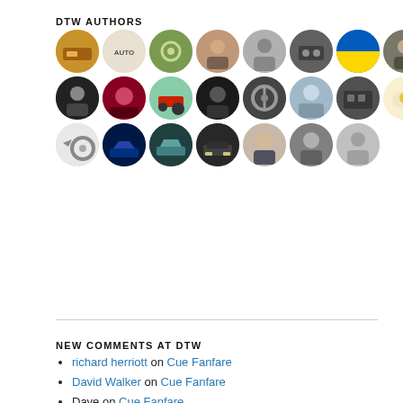DTW AUTHORS
[Figure (photo): Grid of circular author avatar photos and icons, arranged in 3 rows of approximately 9 avatars each]
NEW COMMENTS AT DTW
richard herriott on Cue Fanfare
David Walker on Cue Fanfare
Dave on Cue Fanfare
Freerk de Ruiter on Caledonian Earth King
Freerk de Ruiter on Cue Fanfare
gooddog on Cue Fanfare